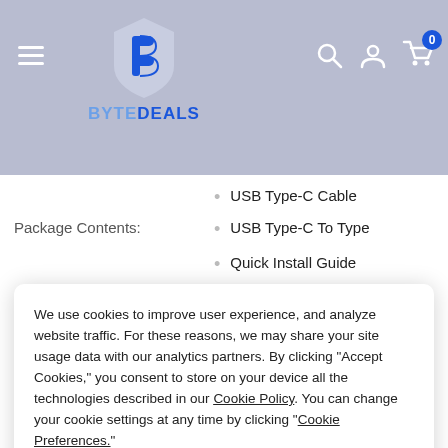ByteDeals header navigation with logo, hamburger menu, search, account, and cart icons
USB Type-C Cable
Package Contents:
USB Type-C To Type
Quick Install Guide
2-Month Membershi
We use cookies to improve user experience, and analyze website traffic. For these reasons, we may share your site usage data with our analytics partners. By clicking "Accept Cookies," you consent to store on your device all the technologies described in our Cookie Policy. You can change your cookie settings at any time by clicking "Cookie Preferences."
Storage Capacity: 1 TB